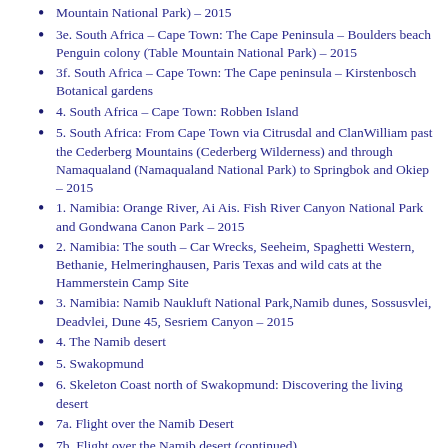Mountain National Park) – 2015
3e. South Africa – Cape Town: The Cape Peninsula – Boulders beach Penguin colony (Table Mountain National Park) – 2015
3f. South Africa – Cape Town: The Cape peninsula – Kirstenbosch Botanical gardens
4. South Africa – Cape Town: Robben Island
5. South Africa: From Cape Town via Citrusdal and ClanWilliam past the Cederberg Mountains (Cederberg Wilderness) and through Namaqualand (Namaqualand National Park) to Springbok and Okiep – 2015
1. Namibia: Orange River, Ai Ais. Fish River Canyon National Park and Gondwana Canon Park – 2015
2. Namibia: The south – Car Wrecks, Seeheim, Spaghetti Western, Bethanie, Helmeringhausen, Paris Texas and wild cats at the Hammerstein Camp Site
3. Namibia: Namib Naukluft National Park,Namib dunes, Sossusvlei, Deadvlei, Dune 45, Sesriem Canyon – 2015
4. The Namib desert
5. Swakopmund
6. Skeleton Coast north of Swakopmund: Discovering the living desert
7a. Flight over the Namib Desert
7b. Flight over the Namib desert (continued)
8. Namibia: Skeleton Coast north of Swakopmund (s) and Cape S...